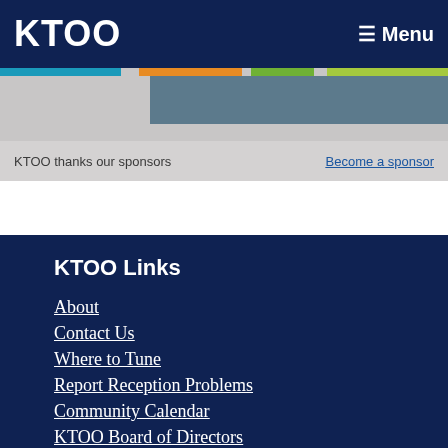KTOO
≡ Menu
[Figure (other): Colored horizontal strip with blue, orange, green segments on gray background, with a blue-gray banner image below]
KTOO thanks our sponsors
Become a sponsor
KTOO Links
About
Contact Us
Where to Tune
Report Reception Problems
Community Calendar
KTOO Board of Directors
Community Advisory Board